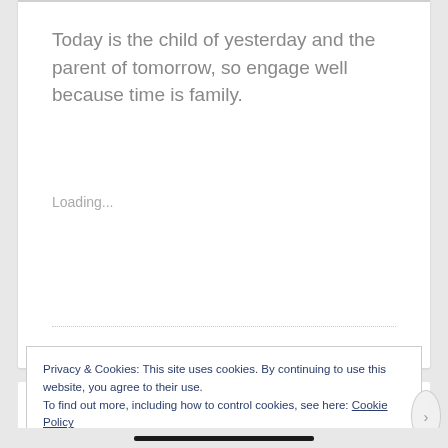Today is the child of yesterday and the parent of tomorrow, so engage well because time is family.
Loading...
Privacy & Cookies: This site uses cookies. By continuing to use this website, you agree to their use.
To find out more, including how to control cookies, see here: Cookie Policy
Close and accept